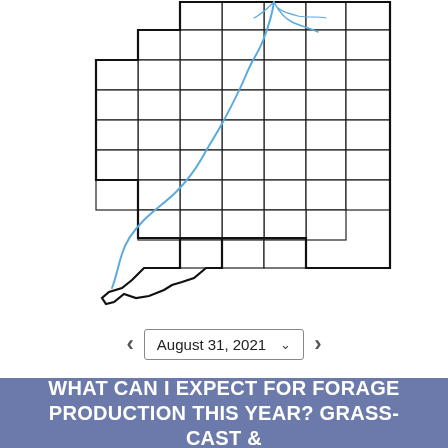[Figure (map): Map of Alabama state showing county boundaries with a blue river (likely the Alabama River) running through the western and central portions of the state. The map shows county lines in black on white background.]
August 31, 2021
WHAT CAN I EXPECT FOR FORAGE PRODUCTION THIS YEAR? GRASS-CAST & STATE-SPECIFIC FORAGE CALCULATORS